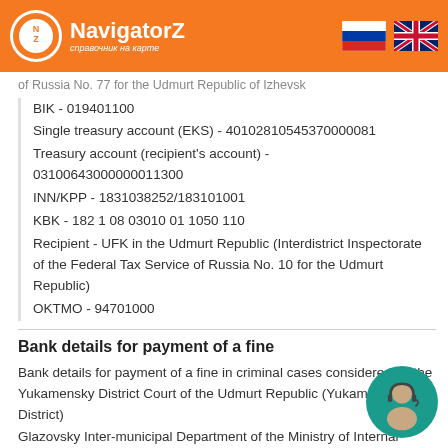NavigatorZ - справочник на карте
of Russia No. 77 for the Udmurt Republic of Izhevsk
BIK - 019401100
Single treasury account (EKS) - 40102810545370000081
Treasury account (recipient's account) - 03100643000000011300
INN/KPP - 1831038252/183101001
KBK - 182 1 08 03010 01 1050 110
Recipient - UFK in the Udmurt Republic (Interdistrict Inspectorate of the Federal Tax Service of Russia No. 10 for the Udmurt Republic)
OKTMO - 94701000
Bank details for payment of a fine
Bank details for payment of a fine in criminal cases considered by the Yukamensky District Court of the Udmurt Republic (Yukamensky District)
Glazovsky Inter-municipal Department of the Ministry of Internal Affairs of Russia
Beneficiary's bank - DIVISION- NB UDMURTSKAYA